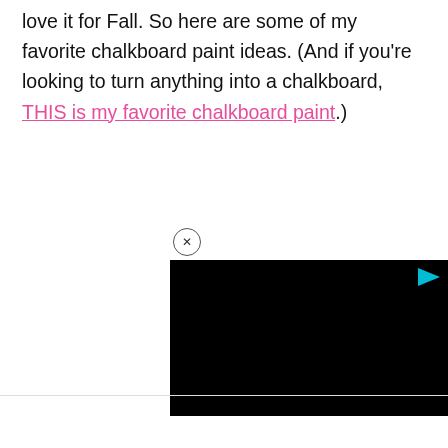love it for Fall. So here are some of my favorite chalkboard paint ideas. (And if you're looking to turn anything into a chalkboard, THIS is my favorite chalkboard paint.)
[Figure (screenshot): Video player advertisement widget with a close (x) button at top and a black video frame with a play button icon in the upper right corner.]